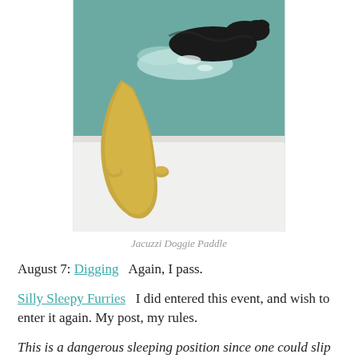[Figure (photo): A dark/black dog paddling in a jacuzzi or bathtub with bubbling water, gold/brass faucet hardware visible in the foreground]
Jacuzzi Doggie Paddle
August 7: Digging   Again, I pass.
Silly Sleepy Furries   I did entered this event, and wish to enter it again. My post, my rules.
This is a dangerous sleeping position since one could slip